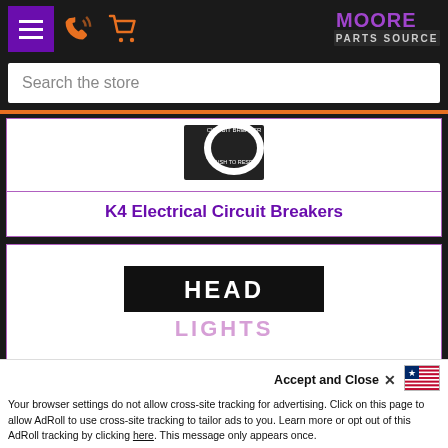Moore Parts Source — navigation header with menu, phone, cart, and logo
Search the store
[Figure (photo): Product image of a K4 Electrical Circuit Breaker — circular ring label component on black background]
K4 Electrical Circuit Breakers
[Figure (photo): Product image showing a black panel label reading HEAD LIGHTS]
Accept and Close ×
Your browser settings do not allow cross-site tracking for advertising. Click on this page to allow AdRoll to use cross-site tracking to tailor ads to you. Learn more or opt out of this AdRoll tracking by clicking here. This message only appears once.